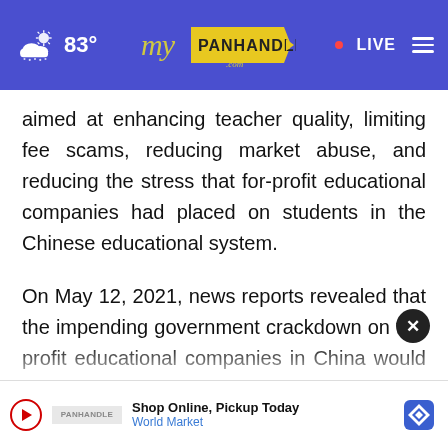myPanhandle.com — 83° — LIVE
aimed at enhancing teacher quality, limiting fee scams, reducing market abuse, and reducing the stress that for-profit educational companies had placed on students in the Chinese educational system.
On May 12, 2021, news reports revealed that the impending government crackdown on for-profit educational companies in China would be much more drastic and far reaching than previously publi[cated]
[Figure (screenshot): Advertisement overlay: Shop Online, Pickup Today — World Market, with play button icon, brand logo, and diamond navigation icon]
[Figure (other): Close button (X) circle overlay]